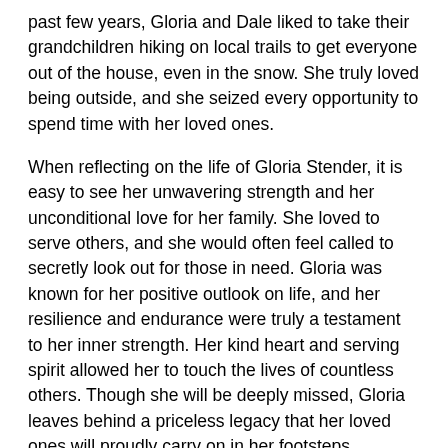past few years, Gloria and Dale liked to take their grandchildren hiking on local trails to get everyone out of the house, even in the snow. She truly loved being outside, and she seized every opportunity to spend time with her loved ones.
When reflecting on the life of Gloria Stender, it is easy to see her unwavering strength and her unconditional love for her family. She loved to serve others, and she would often feel called to secretly look out for those in need. Gloria was known for her positive outlook on life, and her resilience and endurance were truly a testament to her inner strength. Her kind heart and serving spirit allowed her to touch the lives of countless others. Though she will be deeply missed, Gloria leaves behind a priceless legacy that her loved ones will proudly carry on in her footsteps.
Gloria Stender of Kalamazoo, age 73, died on December 26, 2021. Gloria was preceded in death by siblings: Kenneth Henry, Darryl Henry; Surviving are her husband, Dale; children: Deric (Fawn) Stender and Rachael Stender; grandchildren: Tyler Stender, Caleb Stender, Emma Patrick, Alivia Stender, Lindsey